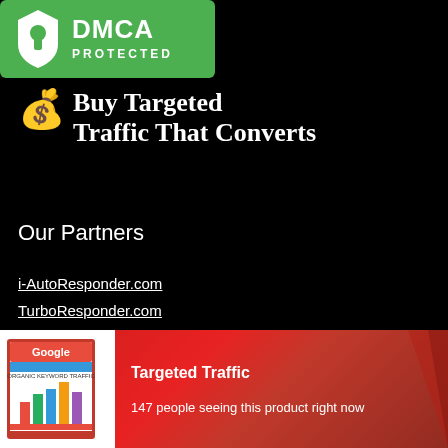[Figure (logo): DMCA Protected badge with green shield and keyhole icon]
Buy Targeted Traffic That Converts
Our Partners
i-AutoResponder.com
TurboResponder.com
WebTargetedTraffic.com
RealTrafficSeller.com
[Figure (photo): Product box showing Google Organic Keyword Traffic book with colorful bar charts]
Targeted Traffic
147 people seeing this product right now